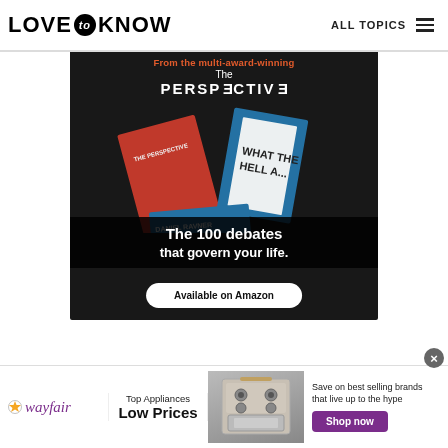LOVE to KNOW   ALL TOPICS
[Figure (illustration): Advertisement for 'The Perspective' book showing a red and blue book with text 'WHAT THE HELL', overlaid with text 'The 100 debates that govern your life.' and a button 'Available on Amazon'. Top text reads 'From the multi-award-winning'. Dark background.]
[Figure (illustration): Wayfair advertisement banner: wayfair logo on left, 'Top Appliances Low Prices' in center, appliance image in middle, 'Save on best selling brands that live up to the hype' and 'Shop now' purple button on right. Close button top right.]